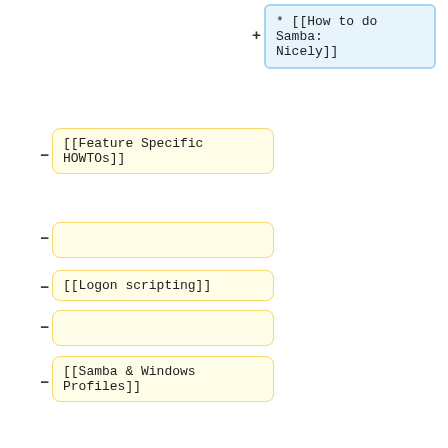* [[How to do Samba: Nicely]]
[[Feature Specific HOWTOs]]
[[Logon scripting]]
[[Samba & Windows Profiles]]
[[Samba and Windows Policies]]
[[Software deployment on Samba]]